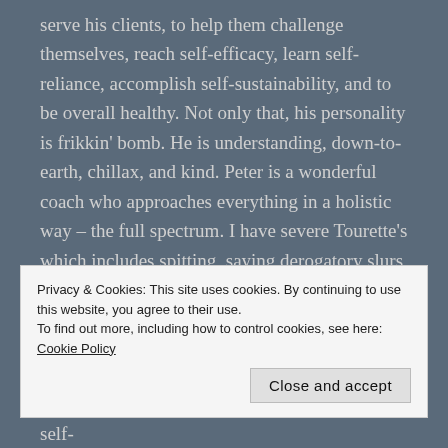serve his clients, to help them challenge themselves, reach self-efficacy, learn self-reliance, accomplish self-sustainability, and to be overall healthy. Not only that, his personality is frikkin' bomb. He is understanding, down-to-earth, chillax, and kind. Peter is a wonderful coach who approaches everything in a holistic way – the full spectrum. I have severe Tourette's which includes spitting, saying derogatory slurs, cursing, throwing stuff (whether that be towards the wall or towards people) and jumping towards people which can all be startling to most. But none of that bugged Peter. Imagine that! That is how cool he is.
Privacy & Cookies: This site uses cookies. By continuing to use this website, you agree to their use.
To find out more, including how to control cookies, see here: Cookie Policy
and overwhelmed, but he helps you become self-